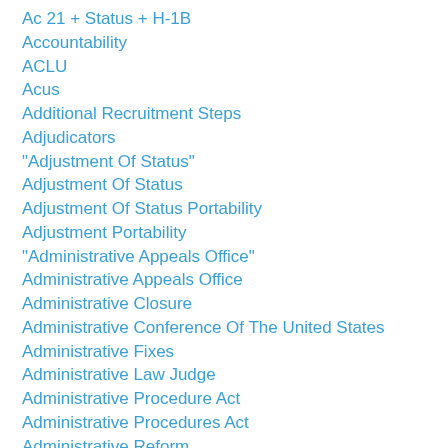Ac 21 + Status + H-1B
Accountability
ACLU
Acus
Additional Recruitment Steps
Adjudicators
"Adjustment Of Status"
Adjustment Of Status
Adjustment Of Status Portability
Adjustment Portability
"Administrative Appeals Office"
Administrative Appeals Office
Administrative Closure
Administrative Conference Of The United States
Administrative Fixes
Administrative Law Judge
Administrative Procedure Act
Administrative Procedures Act
Administrative Reform
Administrative Review
Administrative Review Board